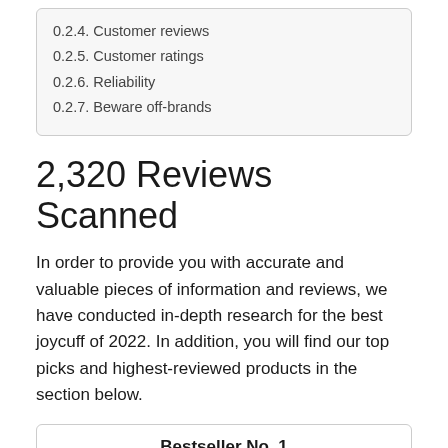0.2.4. Customer reviews
0.2.5. Customer ratings
0.2.6. Reliability
0.2.7. Beware off-brands
2,320 Reviews Scanned
In order to provide you with accurate and valuable pieces of information and reviews, we have conducted in-depth research for the best joycuff of 2022. In addition, you will find our top picks and highest-reviewed products in the section below.
Bestseller No. 1